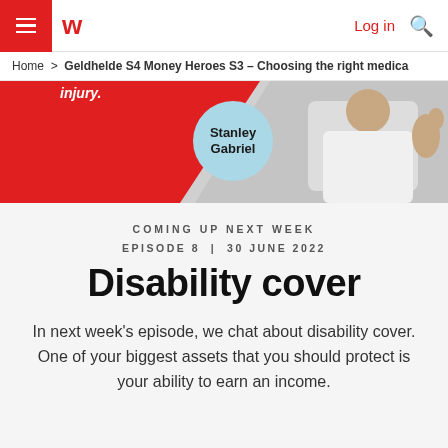≡  w  Log in 🔍
Home > Geldhelde S4 Money Heroes S3 – Choosing the right medica
[Figure (photo): Banner image with red background showing text 'injury.' and a light blue circle with 'Stanley Gabriel' text, and a person on the right side giving thumbs up]
COMING UP NEXT WEEK
EPISODE 8 | 30 JUNE 2022
Disability cover
In next week's episode, we chat about disability cover. One of your biggest assets that you should protect is your ability to earn an income.